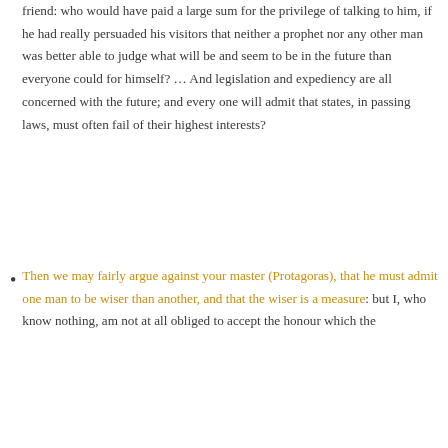friend: who would have paid a large sum for the privilege of talking to him, if he had really persuaded his visitors that neither a prophet nor any other man was better able to judge what will be and seem to be in the future than everyone could for himself? … And legislation and expediency are all concerned with the future; and every one will admit that states, in passing laws, must often fail of their highest interests?
Then we may fairly argue against your master (Protagoras), that he must admit one man to be wiser than another, and that the wiser is a measure: but I, who know nothing, am not at all obliged to accept the honour which the